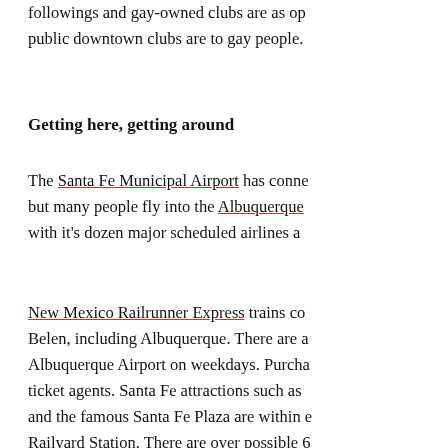followings and gay-owned clubs are as open to public downtown clubs are to gay people.
Getting here, getting around
The Santa Fe Municipal Airport has conne but many people fly into the Albuquerque with it's dozen major scheduled airlines a
New Mexico Railrunner Express trains co Belen, including Albuquerque. There are a Albuquerque Airport on weekdays. Purcha ticket agents. Santa Fe attractions such as and the famous Santa Fe Plaza are within e Railyard Station. There are over possible 6